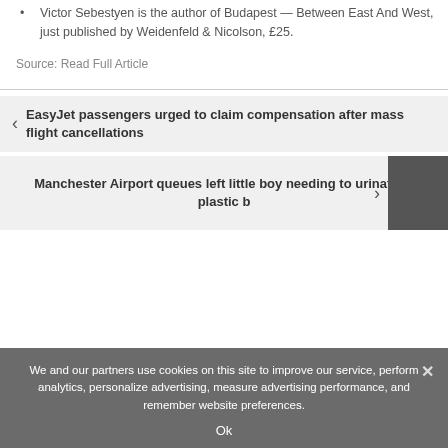Victor Sebestyen is the author of Budapest — Between East And West, just published by Weidenfeld & Nicolson, £25.
Source: Read Full Article
EasyJet passengers urged to claim compensation after mass flight cancellations
Manchester Airport queues left little boy needing to urinate in plastic b...
We and our partners use cookies on this site to improve our service, perform analytics, personalize advertising, measure advertising performance, and remember website preferences.
Ok